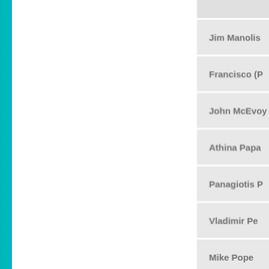Jim Manolis
Francisco (P...
John McEvoy
Athina Papa
Panagiotis P...
Vladimir Pe...
Mike Pope